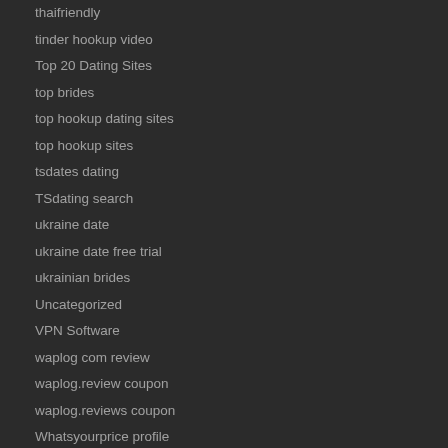thaifriendly
tinder hookup video
Top 20 Dating Sites
top brides
top hookup dating sites
top hookup sites
tsdates dating
TSdating search
ukraine date
ukraine date free trial
ukrainian brides
Uncategorized
VPN Software
waplog com review
waplog.review coupon
waplog.reviews coupon
Whatsyourprice profile